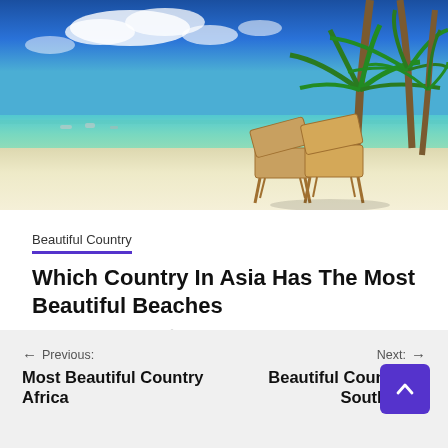[Figure (photo): Tropical beach scene with white sand, turquoise water, blue sky with clouds, palm trees on the right, and two wooden lounge chairs on the sand. Boats visible on the water in the distance.]
Beautiful Country
Which Country In Asia Has The Most Beautiful Beaches
Agustus 5, 2022   admin
Previous: Most Beautiful Country Africa   Next: Beautiful Country In South Asia